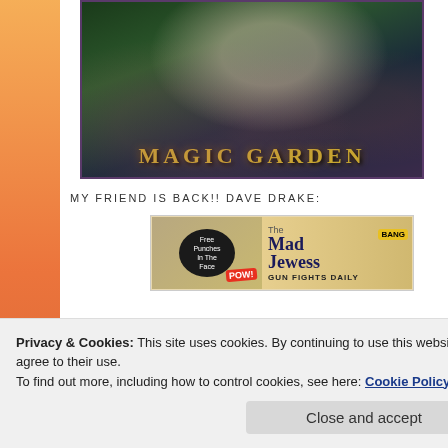[Figure (illustration): Magic Garden album/book cover art showing a woman with floral headpiece in a garden setting with text 'MAGIC GARDEN' at the bottom]
MY FRIEND IS BACK!! DAVE DRAKE:
[Figure (illustration): The Mad Jewess banner image with text 'Free Punches In The Face', 'POW!', 'The Mad Jewess', 'BANG', 'GUN FIGHTS DAILY']
Privacy & Cookies: This site uses cookies. By continuing to use this website, you agree to their use.
To find out more, including how to control cookies, see here: Cookie Policy
Close and accept